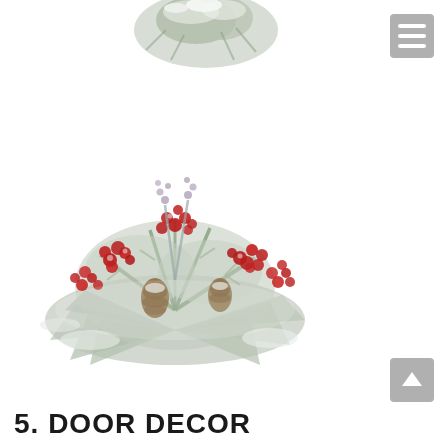[Figure (photo): Partial top view of a snow-flocked pine/evergreen decoration, cropped at top of page]
[Figure (photo): A snow-flocked Christmas floral arrangement featuring red berries, pine cones, green pine needles, and frosted poinsettia leaves on a white background]
5. DOOR DECOR